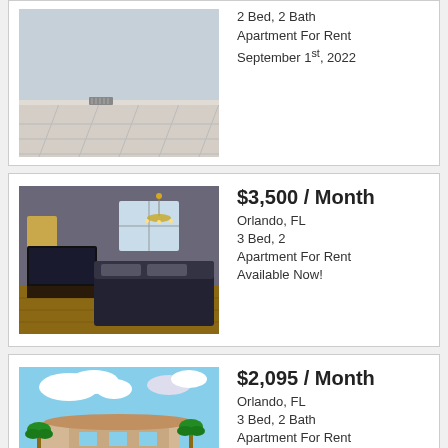[Figure (photo): Interior photo of an empty apartment room with tile floor]
2 Bed, 2 Bath
Apartment For Rent
September 1st, 2022
[Figure (photo): Interior photo of a bedroom with TV and chandelier]
$3,500 / Month
Orlando, FL
3 Bed, 2
Apartment For Rent
Available Now!
[Figure (photo): Exterior photo of an apartment complex with pool and palm trees]
$2,095 / Month
Orlando, FL
3 Bed, 2 Bath
Apartment For Rent